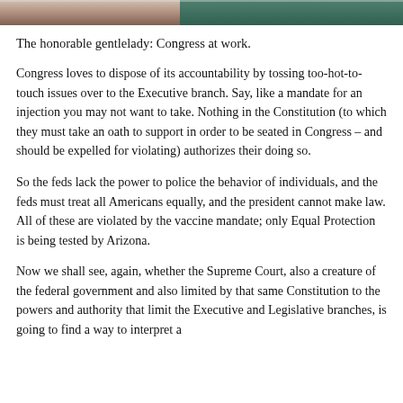[Figure (photo): Partial photo strip showing people, appears to be a cropped image at top of page]
The honorable gentlelady: Congress at work.
Congress loves to dispose of its accountability by tossing too-hot-to-touch issues over to the Executive branch. Say, like a mandate for an injection you may not want to take. Nothing in the Constitution (to which they must take an oath to support in order to be seated in Congress – and should be expelled for violating) authorizes their doing so.
So the feds lack the power to police the behavior of individuals, and the feds must treat all Americans equally, and the president cannot make law. All of these are violated by the vaccine mandate; only Equal Protection is being tested by Arizona.
Now we shall see, again, whether the Supreme Court, also a creature of the federal government and also limited by that same Constitution to the powers and authority that limit the Executive and Legislative branches, is going to find a way to interpret a